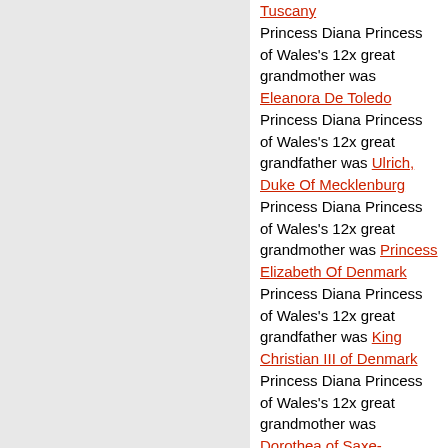Tuscany
Princess Diana Princess of Wales's 12x great grandmother was Eleanora De Toledo
Princess Diana Princess of Wales's 12x great grandfather was Ulrich, Duke Of Mecklenburg
Princess Diana Princess of Wales's 12x great grandmother was Princess Elizabeth Of Denmark
Princess Diana Princess of Wales's 12x great grandfather was King Christian III of Denmark
Princess Diana Princess of Wales's 12x great grandmother was Dorothea of Saxe-Lauenburg
Princess Diana Princess of Wales's 12x great grandmother was Mary Of Lorraine, Duchess of Guise
Princess Diana Princess of Wales's 12x great grandfather was Matthew Stuart, 4th Earl of Lennox
Princess Diana Princess of Wales's